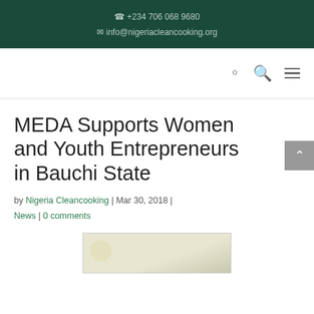+234 706 068 9680
info@nigeriacleancooking.org
MEDA Supports Women and Youth Entrepreneurs in Bauchi State
by Nigeria Cleancooking | Mar 30, 2018 | News | 0 comments
[Figure (photo): Partial view of an indoor photo related to the article]